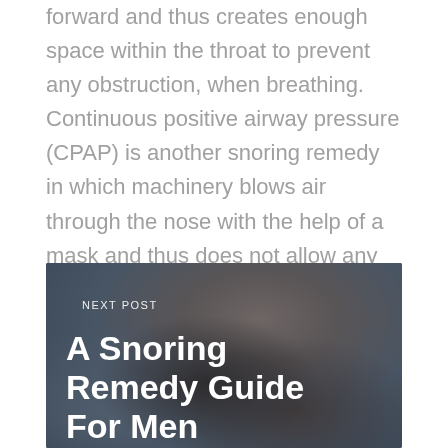forward and thus creates enough space within the throat to prevent any obstruction, when breathing. Continuous positive airway pressure (CPAP) is another snoring remedy in which machinery blows air through the nose with the help of a mask and thus does not allow any disruption to breathing and also eliminates snoring.
[Figure (photo): A person sleeping in bed, lying on their side, viewed from above. Dark moody lighting with blue-grey tones. Text overlay shows 'NEXT POST' and title 'A Snoring Remedy Guide For Men...' in white.]
NEXT POST
A Snoring Remedy Guide For Men